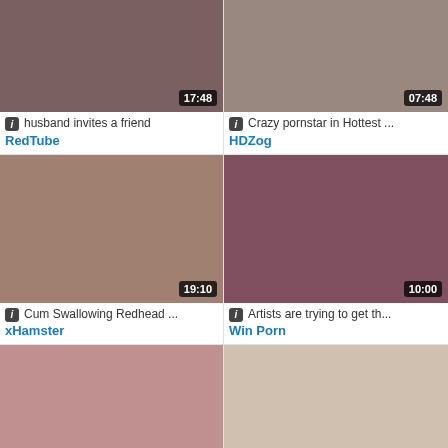[Figure (screenshot): Video thumbnail row 1 left with duration 17:48]
husband invites a friend
RedTube
[Figure (screenshot): Video thumbnail row 1 right with duration 07:48]
Crazy pornstar in Hottest ...
HDZog
[Figure (screenshot): Video thumbnail row 2 left with duration 19:10]
Cum Swallowing Redhead ...
xHamster
[Figure (screenshot): Video thumbnail row 2 right with duration 10:00]
Artists are trying to get th...
Win Porn
[Figure (screenshot): Video thumbnail row 3 left with duration 28:47]
Redhead Sexy Goth Violet ...
Tube8
[Figure (screenshot): Video thumbnail row 3 right with duration 05:59]
Ava Sparxxx - Schoolgirl P....
Txxx